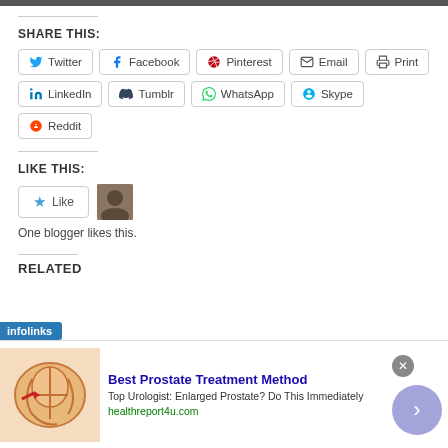[Figure (screenshot): Top image bar cropped at top of page]
SHARE THIS:
Twitter  Facebook  Pinterest  Email  Print  LinkedIn  Tumblr  WhatsApp  Skype  Reddit
LIKE THIS:
Like
One blogger likes this.
RELATED
[Figure (screenshot): Infolinks advertisement banner: Best Prostate Treatment Method - Top Urologist: Enlarged Prostate? Do This Immediately - healthreport4u.com]